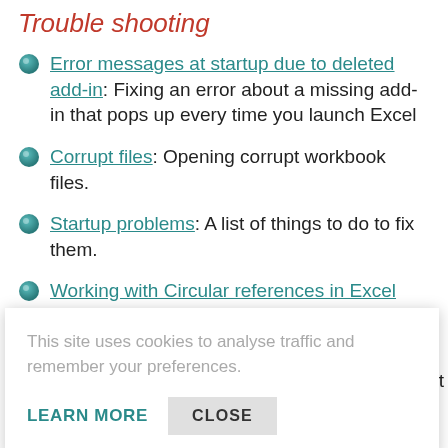Trouble shooting
Error messages at startup due to deleted add-in: Fixing an error about a missing add-in that pops up every time you launch Excel
Corrupt files: Opening corrupt workbook files.
Startup problems: A list of things to do to fix them.
Working with Circular references in Excel
Co-authoring in Office 365. A great feature with an unexpected side-effect
This site uses cookies to analyse traffic and remember your preferences.
LEARN MORE   CLOSE
Cell formatting
A macro to change the formatting of cells so they